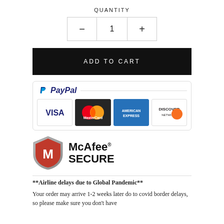QUANTITY
[Figure (screenshot): Quantity selector with minus button, value 1, and plus button]
[Figure (screenshot): ADD TO CART black button]
[Figure (logo): PayPal payment box with VISA, MasterCard, American Express, and Discover Network card logos]
[Figure (logo): McAfee SECURE logo with red shield and M emblem]
**Airline delays due to Global Pandemic**
Your order may arrive 1-2 weeks later do to covid border delays, so please make sure you don't have